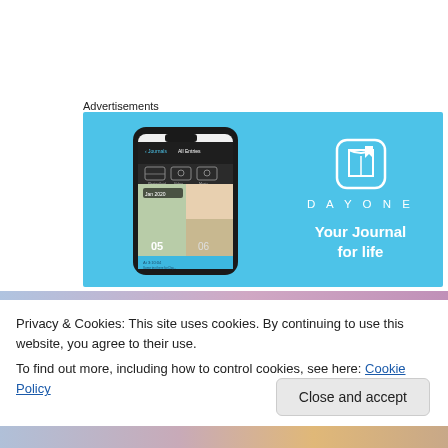Advertisements
[Figure (illustration): DayOne app advertisement banner with sky-blue background showing a smartphone mockup with the app interface on the left, and on the right: a book/journal icon, the text 'DAYONE' in wide-spaced letters, and tagline 'Your Journal for life']
Privacy & Cookies: This site uses cookies. By continuing to use this website, you agree to their use.
To find out more, including how to control cookies, see here: Cookie Policy
Close and accept